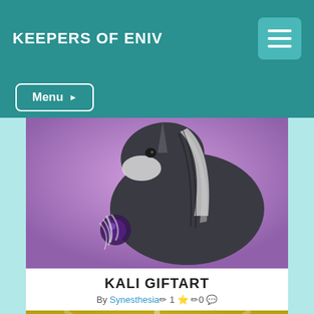KEEPERS OF ENIV
Menu ▶
[Figure (illustration): Digital illustration of a dark grey unicorn/horse creature with a single horn, white mane details, and a purple glowing orb, on a purple background]
KALI GIFTART
By Synesthesia 🖊 1 ⭐ 🖊 0 💬
[Figure (illustration): Digital illustration of a dark red dragon-like creature with yellow horns and yellow spots on a bright yellow radial background with dark red circular accents]